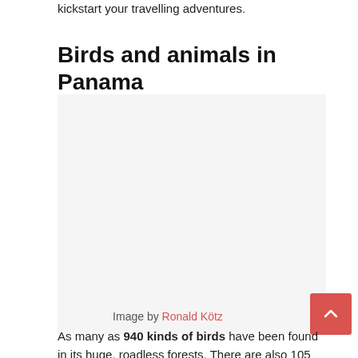kickstart your travelling adventures.
Birds and animals in Panama
[Figure (photo): A large blank/white image area representing a photo placeholder]
Image by Ronald Kötz
As many as 940 kinds of birds have been found in its huge, roadless forests. There are also 105 species of